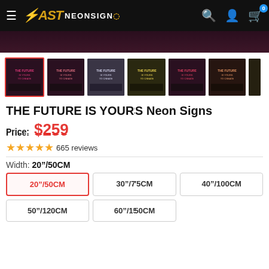FAST NEONSIGN
[Figure (photo): Product image thumbnails of 'THE FUTURE IS YOURS TO CREATE' neon sign in various color variants]
THE FUTURE IS YOURS Neon Signs
Price: $259
665 reviews
Width: 20"/50CM
| 20"/50CM | 30"/75CM | 40"/100CM |
| 50"/120CM | 60"/150CM |  |